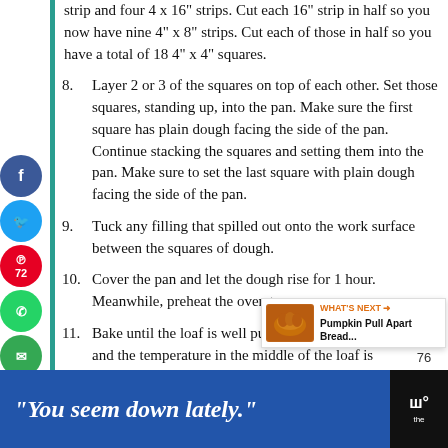strip and four 4 x 16" strips. Cut each 16" strip in half so you now have nine 4" x 8" strips. Cut each of those in half so you have a total of 18 4" x 4" squares.
8. Layer 2 or 3 of the squares on top of each other. Set those squares, standing up, into the pan. Make sure the first square has plain dough facing the side of the pan. Continue stacking the squares and setting them into the pan. Make sure to set the last square with plain dough facing the side of the pan.
9. Tuck any filling that spilled out onto the work surface between the squares of dough.
10. Cover the pan and let the dough rise for 1 hour. Meanwhile, preheat the oven to...
11. Bake until the loaf is well puffed and golden brown, and the temperature in the middle of the loaf is...
[Figure (infographic): What's Next popup showing Pumpkin Pull Apart Bread with bread image]
"You seem down lately."